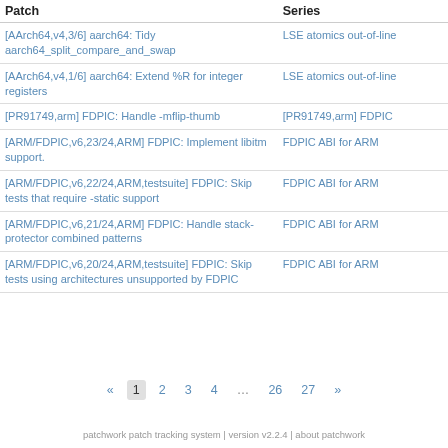| Patch | Series |
| --- | --- |
| [AArch64,v4,3/6] aarch64: Tidy aarch64_split_compare_and_swap | LSE atomics out-of-line |
| [AArch64,v4,1/6] aarch64: Extend %R for integer registers | LSE atomics out-of-line |
| [PR91749,arm] FDPIC: Handle -mflip-thumb | [PR91749,arm] FDPIC |
| [ARM/FDPIC,v6,23/24,ARM] FDPIC: Implement libitm support. | FDPIC ABI for ARM |
| [ARM/FDPIC,v6,22/24,ARM,testsuite] FDPIC: Skip tests that require -static support | FDPIC ABI for ARM |
| [ARM/FDPIC,v6,21/24,ARM] FDPIC: Handle stack-protector combined patterns | FDPIC ABI for ARM |
| [ARM/FDPIC,v6,20/24,ARM,testsuite] FDPIC: Skip tests using architectures unsupported by FDPIC | FDPIC ABI for ARM |
patchwork patch tracking system | version v2.2.4 | about patchwork